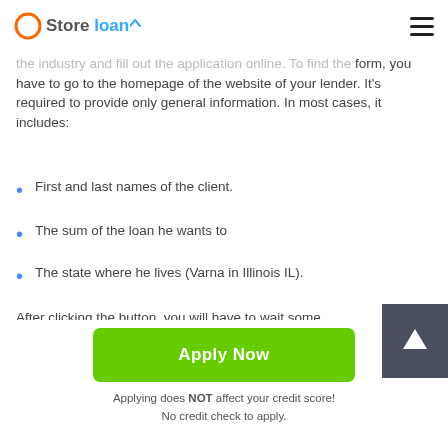Store loan
the industry and fill out the application online. To find the form, you have to go to the homepage of the website of your lender. It's required to provide only general information. In most cases, it includes:
First and last names of the client.
The sum of the loan he wants to
The state where he lives (Varna in Illinois IL).
After clicking the button, you will have to wait some seconds to go to the form requiring more detailed data
Apply Now
Applying does NOT affect your credit score!
No credit check to apply.